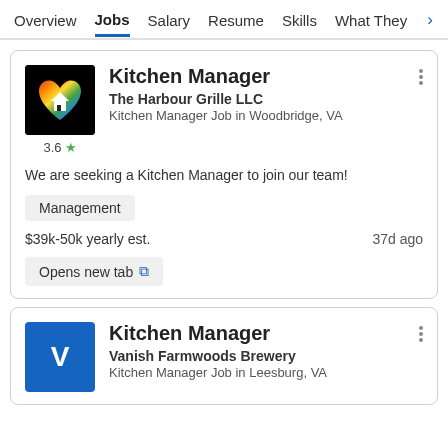Overview  Jobs  Salary  Resume  Skills  What They >
Kitchen Manager
The Harbour Grille LLC
Kitchen Manager Job in Woodbridge, VA
We are seeking a Kitchen Manager to join our team!
Management
$39k-50k yearly est.   37d ago
Opens new tab
Kitchen Manager
Vanish Farmwoods Brewery
Kitchen Manager Job in Leesburg, VA